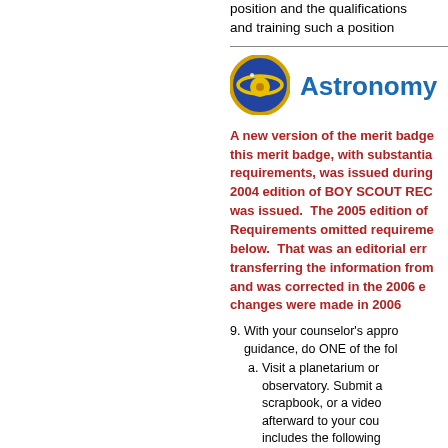position and the qualifications and training such a position
[Figure (logo): Astronomy merit badge circular emblem with blue background and yellow planet/orbit symbol]
Astronomy
A new version of the merit badge pamphlet for this merit badge, with substantially revised requirements, was issued during 2004. The 2004 edition of BOY SCOUT REQUIREMENTS was issued. The 2005 edition of Boy Scout Requirements omitted requirements listed below. That was an editorial error made in transferring the information from the pamphlet and was corrected in the 2006 edition. No changes were made in 2006
9. With your counselor's approval and guidance, do ONE of the following:
a. Visit a planetarium or astronomical observatory. Submit a report, scrapbook, or a video presentation afterward to your counselor that includes the following:
1. Activities occurring at the facility
2. Exhibits and displays
3. Telescopes and